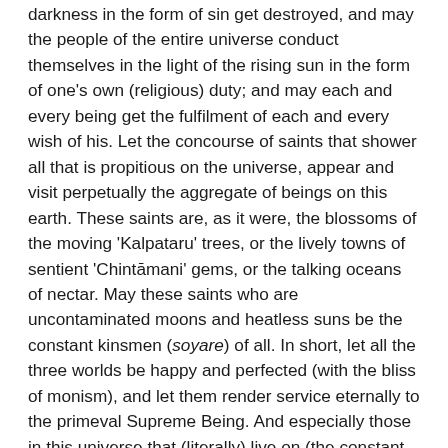darkness in the form of sin get destroyed, and may the people of the entire universe conduct themselves in the light of the rising sun in the form of one's own (religious) duty; and may each and every being get the fulfilment of each and every wish of his. Let the concourse of saints that shower all that is propitious on the universe, appear and visit perpetually the aggregate of beings on this earth. These saints are, as it were, the blossoms of the moving 'Kalpataru' trees, or the lively towns of sentient 'Chintāmani' gems, or the talking oceans of nectar. May these saints who are uncontaminated moons and heatless suns be the constant kinsmen (soyare) of all. In short, let all the three worlds be happy and perfected (with the bliss of monism), and let them render service eternally to the primeval Supreme Being. And especially those in this universe that (literally) live on (the constant study of) this work (the Gita): may they have perfect happiness both temporal as well as spiritual. Hearing this, the Lord of the universe (in the form of the preceptor Nivrittinath) said, 'This boon has been granted to you', at which Jnanadev became very happy. [22]